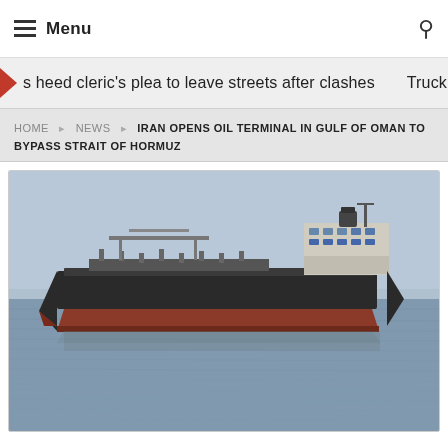Menu
s heed cleric's plea to leave streets after clashes    Truck collides
IRAN OPENS OIL TERMINAL IN GULF OF OMAN TO BYPASS STRAIT OF HORMUZ
[Figure (photo): Large oil tanker ship on calm sea water, viewed from the side. The vessel has a black hull with a red/rust lower section. Superstructure and bridge are visible at the right side. Hazy sky in the background.]